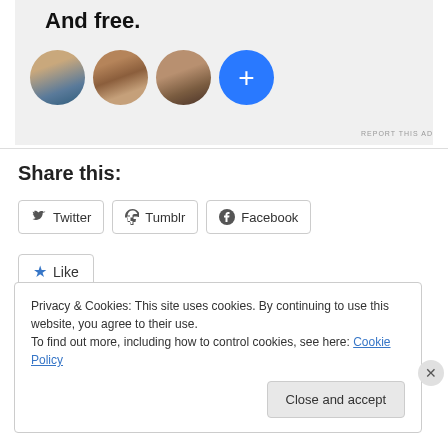[Figure (illustration): Advertisement banner with bold text 'And free.' and three circular profile photos plus a blue circle with a plus sign]
REPORT THIS AD
Share this:
Twitter  Tumblr  Facebook
Like
Privacy & Cookies: This site uses cookies. By continuing to use this website, you agree to their use.
To find out more, including how to control cookies, see here: Cookie Policy
Close and accept